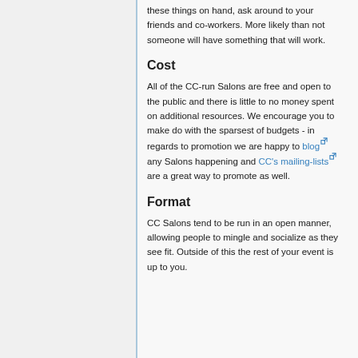these things on hand, ask around to your friends and co-workers. More likely than not someone will have something that will work.
Cost
All of the CC-run Salons are free and open to the public and there is little to no money spent on additional resources. We encourage you to make do with the sparsest of budgets - in regards to promotion we are happy to blog any Salons happening and CC's mailing-lists are a great way to promote as well.
Format
CC Salons tend to be run in an open manner, allowing people to mingle and socialize as they see fit. Outside of this the rest of your event is up to you.